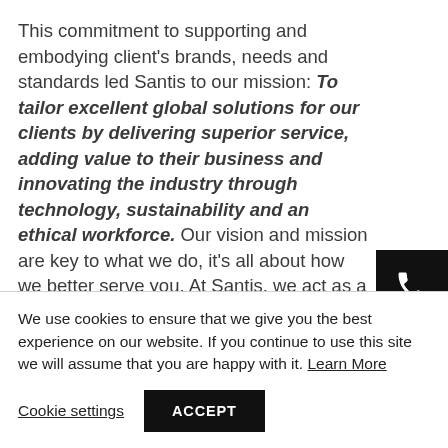This commitment to supporting and embodying client's brands, needs and standards led Santis to our mission: To tailor excellent global solutions for our clients by delivering superior service, adding value to their business and innovating the industry through technology, sustainability and an ethical workforce. Our vision and mission are key to what we do, it's all about how we better serve you. At Santis, we act as a logistics
[Figure (other): Black square button with white phone/telephone icon]
We use cookies to ensure that we give you the best experience on our website. If you continue to use this site we will assume that you are happy with it. Learn More
Cookie settings   ACCEPT